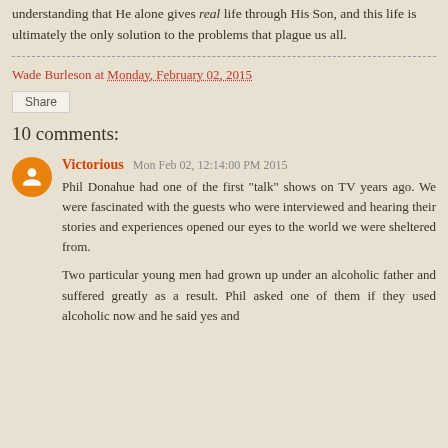understanding that He alone gives real life through His Son, and this life is ultimately the only solution to the problems that plague us all.
Wade Burleson at Monday, February 02, 2015
Share
10 comments:
Victorious Mon Feb 02, 12:14:00 PM 2015
Phil Donahue had one of the first "talk" shows on TV years ago. We were fascinated with the guests who were interviewed and hearing their stories and experiences opened our eyes to the world we were sheltered from.
Two particular young men had grown up under an alcoholic father and suffered greatly as a result. Phil asked one of them if they used alcoholic now and he said yes and